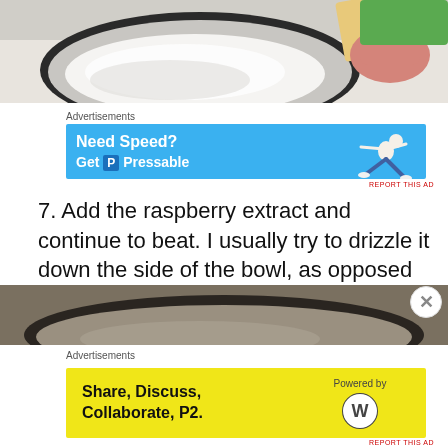[Figure (photo): Top-down view of a bowl with white substance (likely sugar or flour) being mixed, with a person's hand visible holding a utensil, and a green container edge visible]
Advertisements
[Figure (other): Blue advertisement banner reading 'Need Speed? Get Pressable' with an illustration of a person running/flying]
REPORT THIS AD
7. Add the raspberry extract and continue to beat. I usually try to drizzle it down the side of the bowl, as opposed to just pouring it in the center, so as not to disturb the meringue.
[Figure (photo): Close-up photo of a mixing bowl, partially visible at the bottom of the page]
Advertisements
[Figure (other): Yellow advertisement banner reading 'Share, Discuss, Collaborate, P2.' with WordPress logo and 'Powered by' text]
REPORT THIS AD